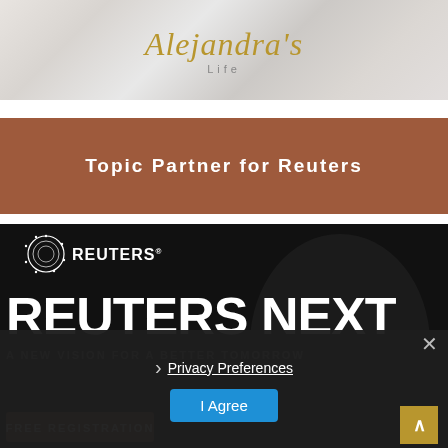[Figure (logo): Alejandra's Life blog logo with golden script text on marble background]
Topic Partner for Reuters
[Figure (screenshot): Reuters Next event screenshot with dark background showing Reuters logo, 'REUTERS NEXT' large text, 'A NEW VISION FOR A BETTER TOMORROW' subtitle, privacy preferences dialog with 'I Agree' button, close X button, free registration button, and scroll-up arrow]
Privacy Preferences
I Agree